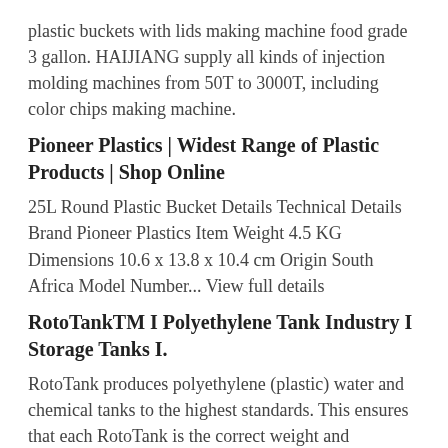plastic buckets with lids making machine food grade 3 gallon. HAIJIANG supply all kinds of injection molding machines from 50T to 3000T, including color chips making machine.
Pioneer Plastics | Widest Range of Plastic Products | Shop Online
25L Round Plastic Bucket Details Technical Details Brand Pioneer Plastics Item Weight 4.5 KG Dimensions 10.6 x 13.8 x 10.4 cm Origin South Africa Model Number... View full details
RotoTankTM I Polyethylene Tank Industry I Storage Tanks I.
RotoTank produces polyethylene (plastic) water and chemical tanks to the highest standards. This ensures that each RotoTank is the correct weight and dimensions for it's specific purpose. These plastic tanks from RotoTank